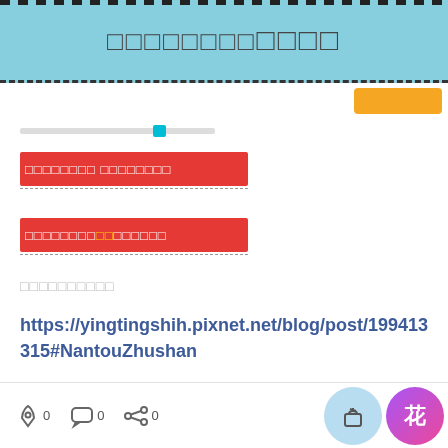□□□□□□□□□□□□
[Figure (screenshot): Red highlighted text block with white CJK/box characters on red background, with dashed underline]
[Figure (screenshot): Second red highlighted text block with white and yellow CJK/box characters on red background, with dashed underline]
□□□□□□□□□□
https://yingtingshih.pixnet.net/blog/post/199413315#NantouZhushan
0  0  0